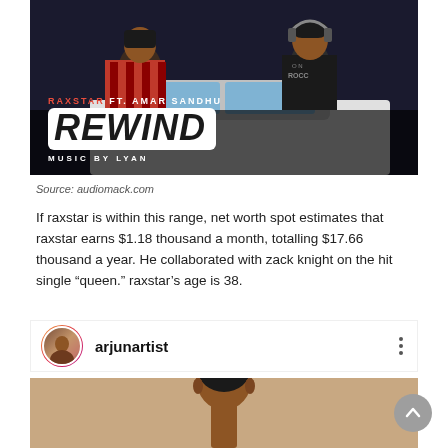[Figure (photo): Music single cover art for 'REWIND' by Raxstar ft. Amar Sandhu, Music by Lyan. Dark background with people in a car, bold white text on black rounded rectangle.]
Source: audiomack.com
If raxstar is within this range, net worth spot estimates that raxstar earns $1.18 thousand a month, totalling $17.66 thousand a year. He collaborated with zack knight on the hit single “queen.” raxstar’s age is 38.
[Figure (screenshot): Instagram post header showing arjunartist account avatar and username with three-dot menu]
[Figure (photo): Portrait photo of a young man with dark short hair against a beige/tan background, partially visible]